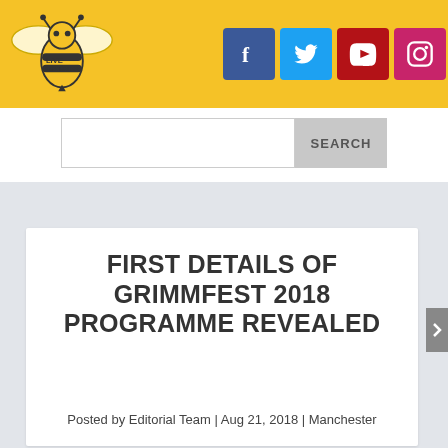[Figure (logo): Live Manchester bee logo on yellow header background]
[Figure (infographic): Social media icons: Facebook (blue), Twitter (cyan), YouTube (dark red), Instagram (pink)]
[Figure (screenshot): Search bar with text input and SEARCH button]
FIRST DETAILS OF GRIMMFEST 2018 PROGRAMME REVEALED
Posted by Editorial Team | Aug 21, 2018 | Manchester